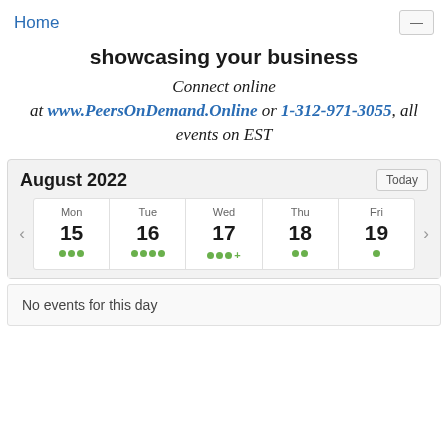Home
showcasing your business
Connect online at www.PeersOnDemand.Online or 1-312-971-3055, all events on EST
[Figure (screenshot): August 2022 weekly calendar view showing Mon 15 (3 dots), Tue 16 (4 dots), Wed 17 (3 dots+), Thu 18 (2 dots), Fri 19 (1 dot), with Today button and navigation arrows]
No events for this day